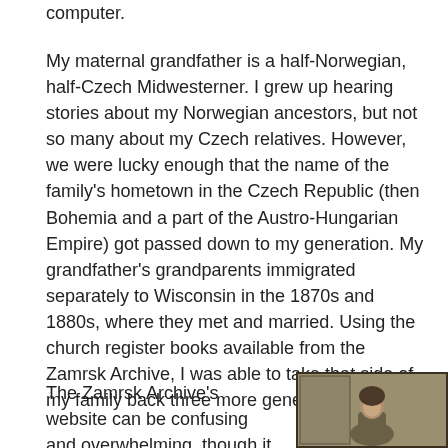computer.
My maternal grandfather is a half-Norwegian, half-Czech Midwesterner. I grew up hearing stories about my Norwegian ancestors, but not so many about my Czech relatives. However, we were lucky enough that the name of the family's hometown in the Czech Republic (then Bohemia and a part of the Austro-Hungarian Empire) got passed down to my generation. My grandfather's grandparents immigrated separately to Wisconsin in the 1870s and 1880s, where they met and married. Using the church register books available from the Zamrsk Archive, I was able to take that side of my family back three more generations.
The Zamrsk Archive's website can be confusing and overwhelming, though it does contain some
[Figure (photo): Sepia-toned historical photograph of a person, likely from the 19th century, with a dark frame/border.]